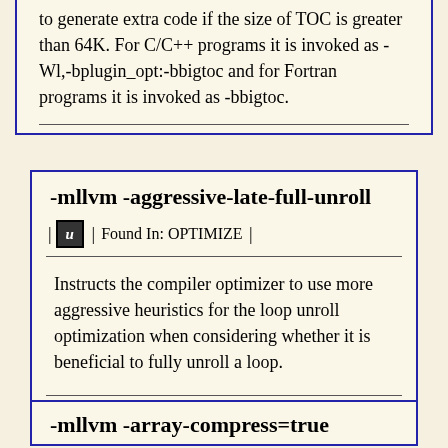to generate extra code if the size of TOC is greater than 64K. For C/C++ programs it is invoked as -Wl,-bplugin_opt:-bbigtoc and for Fortran programs it is invoked as -bbigtoc.
-mllvm -aggressive-late-full-unroll
Found In: OPTIMIZE
Instructs the compiler optimizer to use more aggressive heuristics for the loop unroll optimization when considering whether it is beneficial to fully unroll a loop.
-mllvm -array-compress=true